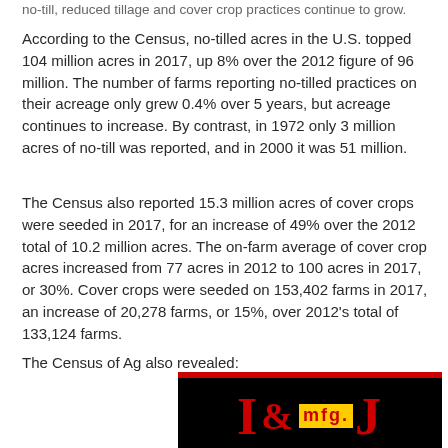no-till, reduced tillage and cover crop practices continue to grow.
According to the Census, no-tilled acres in the U.S. topped 104 million acres in 2017, up 8% over the 2012 figure of 96 million. The number of farms reporting no-tilled practices on their acreage only grew 0.4% over 5 years, but acreage continues to increase. By contrast, in 1972 only 3 million acres of no-till was reported, and in 2000 it was 51 million.
The Census also reported 15.3 million acres of cover crops were seeded in 2017, for an increase of 49% over the 2012 total of 10.2 million acres. The on-farm average of cover crop acres increased from 77 acres in 2012 to 100 acres in 2017, or 30%. Cover crops were seeded on 153,402 farms in 2017, an increase of 20,278 farms, or 15%, over 2012's total of 133,124 farms.
The Census of Ag also revealed:
[Figure (logo): I & J mfg. logo — black background with red top border, large red serif letters 'I' and 'J' with '&' between them, and a yellow box containing red text 'mfg.' between the letters]